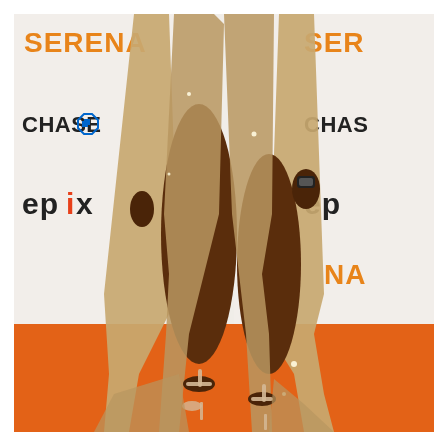[Figure (photo): A person wearing a gold/bronze glittery gown with a high slit, standing on an orange carpet at a red carpet event. The background shows a step-and-repeat banner with sponsor logos including 'SERENA', 'CHASE' (with Chase bank logo), and 'epix'. Only the lower body and legs of the person are visible, wearing nude strappy heeled sandals.]